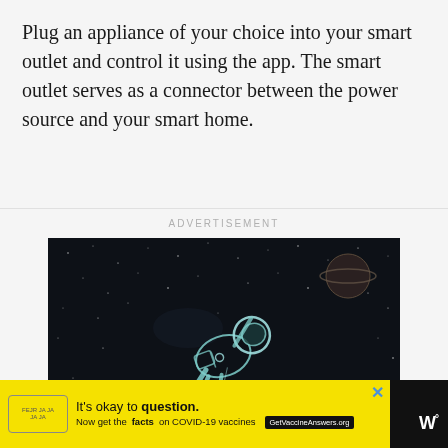Plug an appliance of your choice into your smart outlet and control it using the app. The smart outlet serves as a connector between the power source and your smart home.
ADVERTISEMENT
[Figure (illustration): Dark space illustration showing an astronaut floating in outer space with stars and a planet visible in the background, drawn in a sketch/outline style with teal/white lines on dark background.]
[Figure (infographic): Yellow advertisement banner at the bottom: stamp/badge icon on left, text 'It's okay to question. Now get the facts on COVID-19 vaccines' with GetVaccineAnswers.org button, close X button top right, dark background with WW logo on far right.]